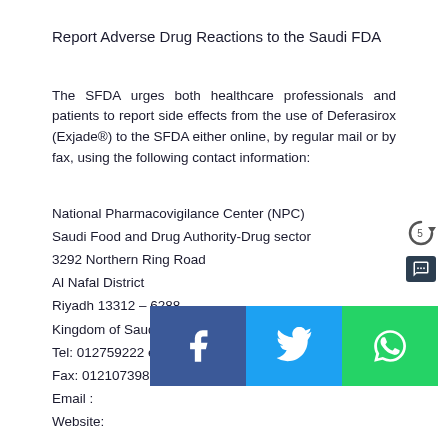Report Adverse Drug Reactions to the Saudi FDA
The SFDA urges both healthcare professionals and patients to report side effects from the use of Deferasirox (Exjade®) to the SFDA either online, by regular mail or by fax, using the following contact information:
National Pharmacovigilance Center (NPC)
Saudi Food and Drug Authority-Drug sector
3292 Northern Ring Road
Al Nafal District
Riyadh 13312 – 6288
Kingdom of Saudi Arabia
Tel: 012759222 ext. 2334, 2352, 2353, 2354, 2356
Fax: 012107398
Email :
Website:
[Figure (infographic): Social media share buttons: Facebook (blue), Twitter (light blue), WhatsApp (green)]